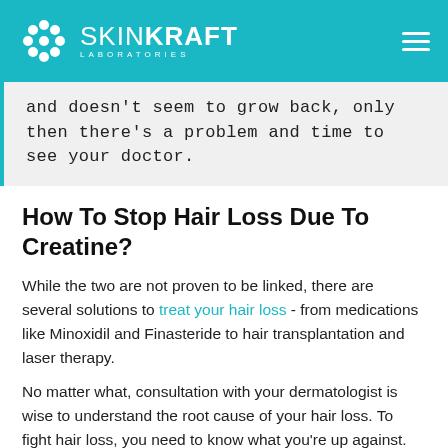SKINKRAFT LABORATORIES
and doesn't seem to grow back, only then there's a problem and time to see your doctor.
How To Stop Hair Loss Due To Creatine?
While the two are not proven to be linked, there are several solutions to treat your hair loss - from medications like Minoxidil and Finasteride to hair transplantation and laser therapy.
No matter what, consultation with your dermatologist is wise to understand the root cause of your hair loss. To fight hair loss, you need to know what you're up against.